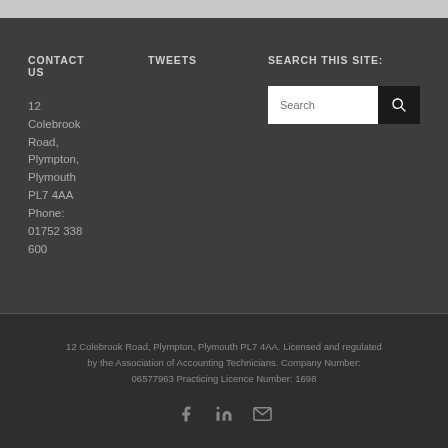CONTACT US
12 Colebrook Road, Plympton, Plymouth PL7 4AA Phone: 01752 338 600
TWEETS
SEARCH THIS SITE:
12 Colebrook Road, Plympton, Plymouth PL7 4AA. Licensed and regulated by the Association of Accounting Technicians. Company Number: 06577963 Practicing Licence Number: 1698